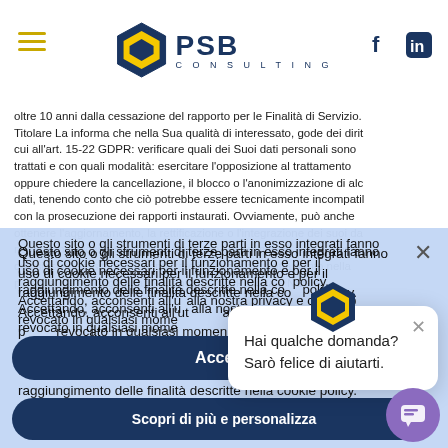[Figure (logo): PSB Consulting logo with hexagon icon, hamburger menu, and social media icons (Facebook, LinkedIn)]
oltre 10 anni dalla cessazione del rapporto per le Finalità di Servizio. Titolare La informa che nella Sua qualità di interessato, gode dei dirit cui all'art. 15-22 GDPR: verificare quali dei Suoi dati personali sono trattati e con quali modalità: esercitare l'opposizione al trattamento oppure chiedere la cancellazione, il blocco o l'anonimizzazione di alc dati, tenendo conto che ciò potrebbe essere tecnicamente incompatil con la prosecuzione dei rapporti instaurati. Ovviamente, può anche ottenere l'aggiornamento, la rettificazione o l'integrazione dei suoi da nonché modificare in qualsiasi momento i consensi già forniti- Per qualsiasi necessità potrà contattare il Titolare del trattamento nella persona del suo legale rappresentante Ing. Pasquale Natale
Questo sito o gli strumenti di terze parti in esso integrati fanno uso di cookie necessari per il funzionamento e per il raggiungimento delle finalità descritte nella cookie policy. Accettando, acconsenti all'utilizzo di tali strumenti in linea alla nostra privacy e cookie policy, il consenso può essere revocato in qualsiasi momento.
Hai qualche domanda? Sarò felice di aiutarti.
Accetta
Scopri di più e personalizza